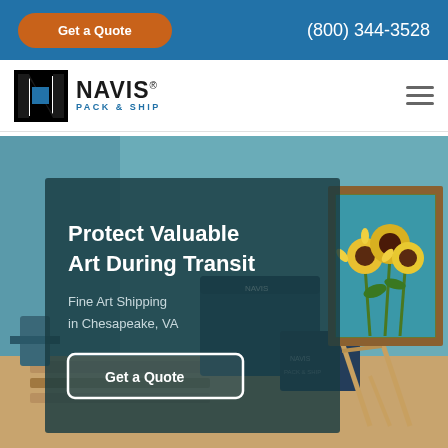Get a Quote | (800) 344-3528
[Figure (logo): Navis Pack & Ship logo with stylized N icon]
[Figure (photo): Hero image showing a sunflower painting on an easel in an art studio/warehouse setting, with text overlay: Protect Valuable Art During Transit - Fine Art Shipping in Chesapeake, VA - Get a Quote button]